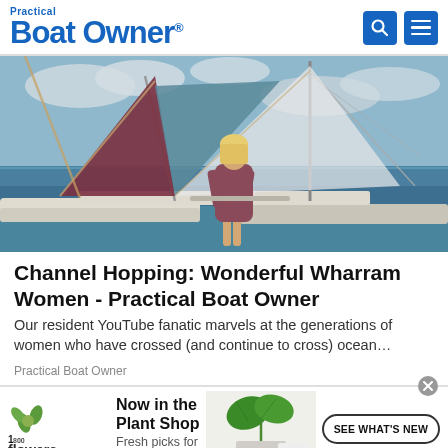Practical Boat Owner
[Figure (photo): Woman standing on the bow of a sailing catamaran at sea, viewed from behind, wearing a purple dress. Colorful sails visible, ocean horizon in background with cloudy sky.]
Channel Hopping: Wonderful Wharram Women - Practical Boat Owner
Our resident YouTube fanatic marvels at the generations of women who have crossed (and continue to cross) ocean…
Practical Boat Owner
[Figure (other): 1-800-Flowers.com advertisement: 'Now in the Plant Shop - Fresh picks for summer' with SEE WHAT'S NEW button and image of potted plant.]